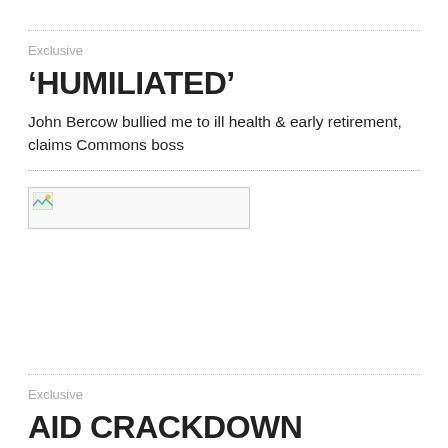Exclusive
‘HUMILIATED’
John Bercow bullied me to ill health & early retirement, claims Commons boss
[Figure (photo): Broken/missing image placeholder]
Exclusive
AID CRACKDOWN